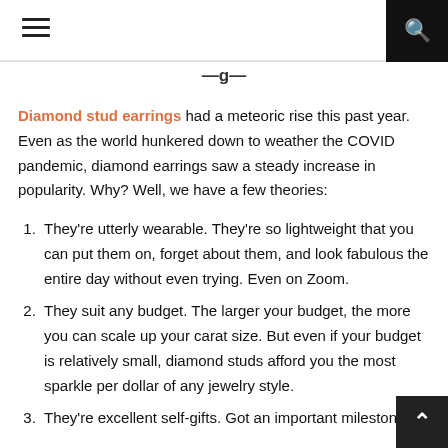≡ [hamburger menu] | [search icon]
Diamond stud earrings had a meteoric rise this past year. Even as the world hunkered down to weather the COVID pandemic, diamond earrings saw a steady increase in popularity. Why? Well, we have a few theories:
They're utterly wearable. They're so lightweight that you can put them on, forget about them, and look fabulous the entire day without even trying. Even on Zoom.
They suit any budget. The larger your budget, the more you can scale up your carat size. But even if your budget is relatively small, diamond studs afford you the most sparkle per dollar of any jewelry style.
They're excellent self-gifts. Got an important milestone